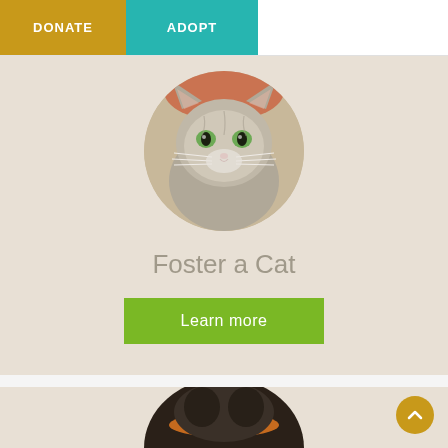DONATE   ADOPT
[Figure (photo): Circular photo of a fluffy gray cat with green eyes looking at the camera, on a beige background card]
Foster a Cat
Learn more
[Figure (photo): Partial circular photo of a black dog wearing an orange collar, on a beige background card, partially visible at bottom of page]